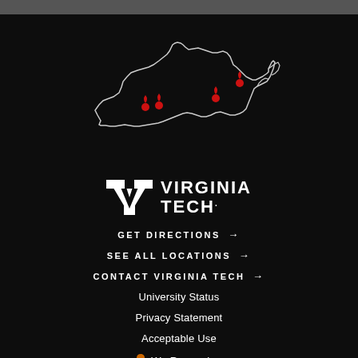[Figure (map): Outline map of Virginia state in white on black background with red location pin markers indicating Virginia Tech campus locations.]
[Figure (logo): Virginia Tech logo: VT monogram in white alongside VIRGINIA TECH wordmark in white capital letters on black background.]
GET DIRECTIONS →
SEE ALL LOCATIONS →
CONTACT VIRGINIA TECH →
University Status
Privacy Statement
Acceptable Use
🎗 We Remember
University Libraries